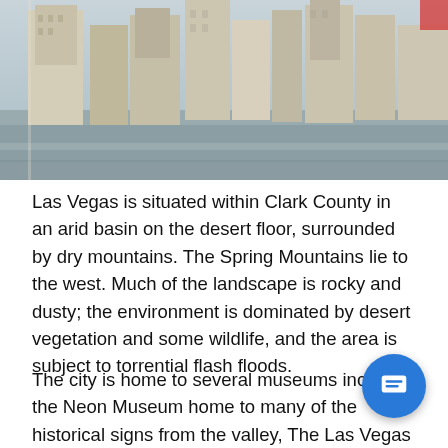[Figure (photo): Aerial view of Las Vegas city skyline with tall buildings and streets visible from above]
Las Vegas is situated within Clark County in an arid basin on the desert floor, surrounded by dry mountains. The Spring Mountains lie to the west. Much of the landscape is rocky and dusty; the environment is dominated by desert vegetation and some wildlife, and the area is subject to torrential flash floods.
The city is home to several museums including the Neon Museum home to many of the historical signs from the valley, The Las Vegas Museum of Organized Crime and Law Enforcement, the Las Vegas Natural History Museum, Lied Discovery